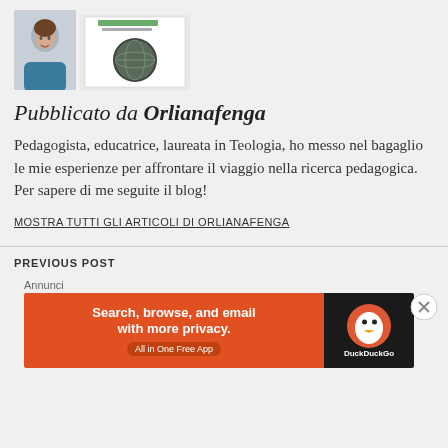[Figure (photo): Author photo (woman) and book cover image side by side]
Pubblicato da Orlianafenga
Pedagogista, educatrice, laureata in Teologia, ho messo nel bagaglio le mie esperienze per affrontare il viaggio nella ricerca pedagogica. Per sapere di me seguite il blog!
MOSTRA TUTTI GLI ARTICOLI DI ORLIANAFENGA
PREVIOUS POST
Annunci
[Figure (screenshot): DuckDuckGo advertisement banner: Search, browse, and email with more privacy. All in One Free App]